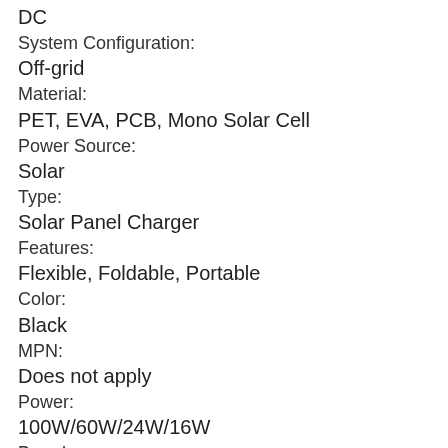DC
System Configuration:
Off-grid
Material:
PET, EVA, PCB, Mono Solar Cell
Power Source:
Solar
Type:
Solar Panel Charger
Features:
Flexible, Foldable, Portable
Color:
Black
MPN:
Does not apply
Power:
100W/60W/24W/16W
Brand:
Unbranded
Solar Technology:
Monocrystalline
Charging Mode:
PWM (Pulse Width Modulation)
Style:
Solar Panel Charger